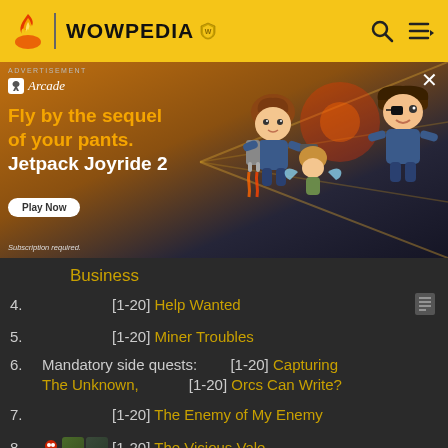WOWPEDIA
[Figure (screenshot): Apple Arcade advertisement for Jetpack Joyride 2 game with animated characters flying with jetpack. Text: 'Fly by the sequel of your pants. Jetpack Joyride 2'. Play Now button. Subscription required.]
Business
4. [1-20] Help Wanted
5. [1-20] Miner Troubles
6. Mandatory side quests: [1-20] Capturing The Unknown, [1-20] Orcs Can Write?
7. [1-20] The Enemy of My Enemy
8. [1-20] The Vicious Vale
9. [1-20] Weed Whacker
10. [1-20] Back to Aggra